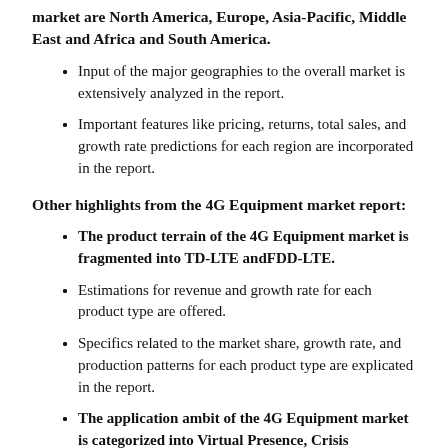market are North America, Europe, Asia-Pacific, Middle East and Africa and South America.
Input of the major geographies to the overall market is extensively analyzed in the report.
Important features like pricing, returns, total sales, and growth rate predictions for each region are incorporated in the report.
Other highlights from the 4G Equipment market report:
The product terrain of the 4G Equipment market is fragmented into TD-LTE andFDD-LTE.
Estimations for revenue and growth rate for each product type are offered.
Specifics related to the market share, growth rate, and production patterns for each product type are explicated in the report.
The application ambit of the 4G Equipment market is categorized into Virtual Presence, Crisis